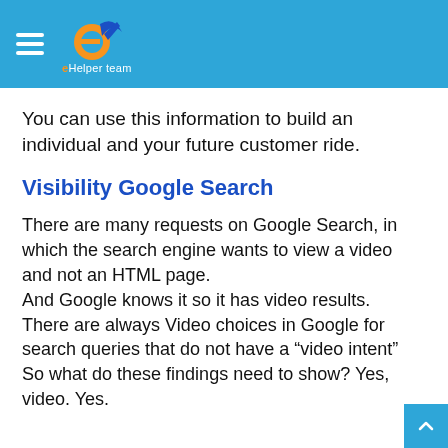eHelper team
You can use this information to build an individual and your future customer ride.
Visibility Google Search
There are many requests on Google Search, in which the search engine wants to view a video and not an HTML page.
And Google knows it so it has video results.
There are always Video choices in Google for search queries that do not have a “video intent”
So what do these findings need to show? Yes, video. Yes.